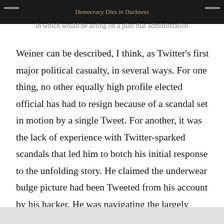Democracy Dies in Darkness
in which would be acting on a plan that administration
Weiner can be described, I think, as Twitter's first major political casualty, in several ways. For one thing, no other equally high profile elected official has had to resign because of a scandal set in motion by a single Tweet. For another, it was the lack of experience with Twitter-sparked scandals that led him to botch his initial response to the unfolding story. He claimed the underwear bulge picture had been Tweeted from his account by his hacker. He was navigating the largely uncharted technological waters of Twitter-based scandals, and as a result, he badly screwed up. In the future, politicans who get in trouble over a wayward Tweet wiill look back on Weiner's travails as a guide on what not to do. Weiner, alas, had no